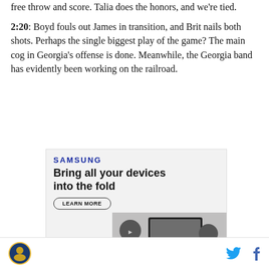free throw and score. Talia does the honors, and we're tied.
2:20: Boyd fouls out James in transition, and Brit nails both shots. Perhaps the single biggest play of the game? The main cog in Georgia's offense is done. Meanwhile, the Georgia band has evidently been working on the railroad.
[Figure (other): Samsung advertisement: 'Bring all your devices into the fold' with a LEARN MORE button and Galaxy device imagery]
Site logo | Twitter icon | Facebook icon